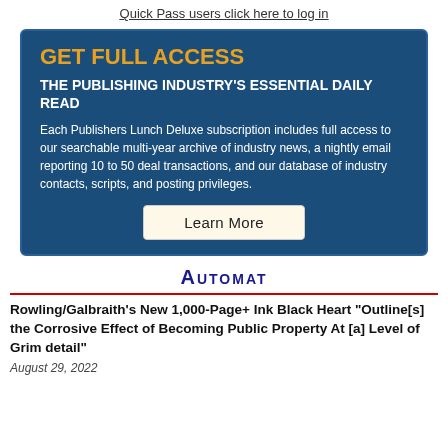Quick Pass users click here to log in
GET FULL ACCESS
THE PUBLISHING INDUSTRY'S ESSENTIAL DAILY READ
Each Publishers Lunch Deluxe subscription includes full access to our searchable multi-year archive of industry news, a nightly email reporting 10 to 50 deal transactions, and our database of industry contacts, scripts, and posting privileges.
Learn More
Automat
Rowling/Galbraith's New 1,000-Page+ Ink Black Heart "Outline[s] the Corrosive Effect of Becoming Public Property At [a] Level of Grim detail"
August 29, 2022